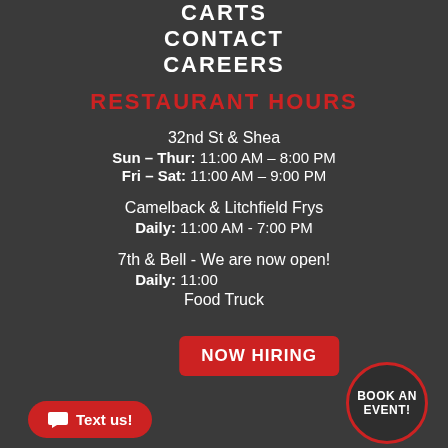CARTS
CONTACT
CAREERS
RESTAURANT HOURS
32nd St & Shea
Sun – Thur: 11:00 AM – 8:00 PM
Fri – Sat: 11:00 AM – 9:00 PM
Camelback & Litchfield Frys
Daily: 11:00 AM - 7:00 PM
7th & Bell - We are now open!
Daily: 11:00 ...
NOW HIRING
Text us!
BOOK AN EVENT!
Food Truck